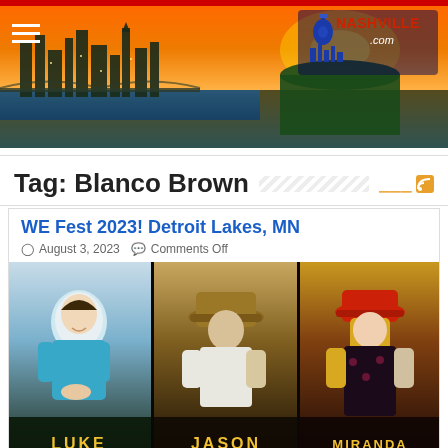[Figure (photo): Nashville.com website header banner showing aerial view of Nashville city skyline at sunset with the Cumberland River, stadium visible, hamburger menu icon on left, Nashville.com logo on top right]
Tag: Blanco Brown
WE Fest 2023! Detroit Lakes, MN
August 3, 2023  Comments Off
[Figure (photo): Concert promotional image showing three country music artists side by side: Luke Bryan on the left in a teal shirt, Jason Aldean in the center wearing a cowboy hat, and Miranda Lambert on the right wearing a red hat. Their names LUKE, JASON, MIRANDA appear at the bottom in gold lettering.]